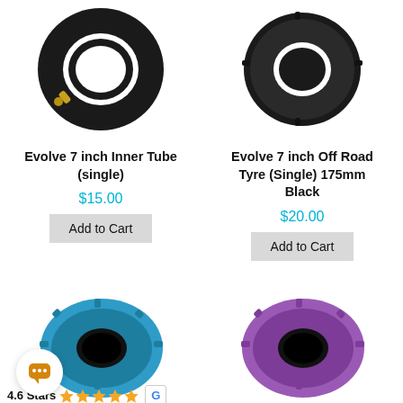[Figure (photo): Evolve 7 inch inner tube with brass valve, black rubber, circular shape]
[Figure (photo): Evolve 7 inch off road tyre, black rubber, knobby tread pattern]
Evolve 7 inch Inner Tube (single)
Evolve 7 inch Off Road Tyre (Single) 175mm Black
$15.00
$20.00
Add to Cart
Add to Cart
[Figure (photo): Blue knobby tyre, 7 inch, off road, circular shape]
[Figure (photo): Purple knobby tyre, 7 inch, off road, circular shape]
4.6 Stars
[Figure (other): Chat bubble icon in circle]